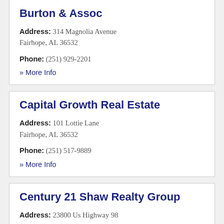Burton & Assoc
Address: 314 Magnolia Avenue Fairhope, AL 36532
Phone: (251) 929-2201
» More Info
Capital Growth Real Estate
Address: 101 Lottie Lane Fairhope, AL 36532
Phone: (251) 517-9889
» More Info
Century 21 Shaw Realty Group
Address: 23800 Us Highway 98